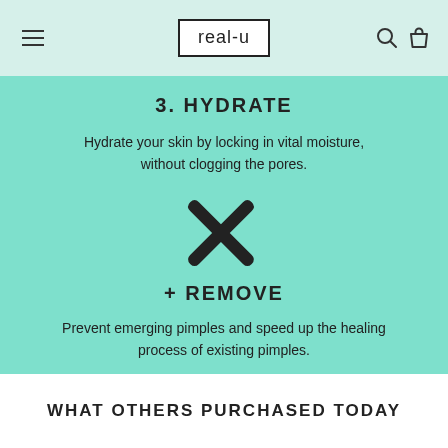real-u
3. HYDRATE
Hydrate your skin by locking in vital moisture, without clogging the pores.
[Figure (illustration): X mark icon (cross/remove symbol)]
+ REMOVE
Prevent emerging pimples and speed up the healing process of existing pimples.
WHAT OTHERS PURCHASED TODAY